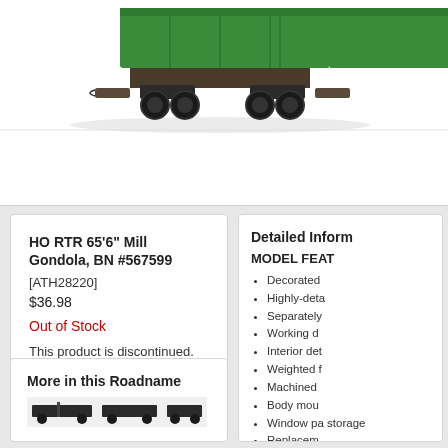[Figure (photo): HO scale model train gondola car in green (Burlington Northern) on white background, showing undercarriage and wheels detail, cropped at bottom of frame]
HO RTR 65'6" Mill Gondola, BN #567599
[ATH28220]
$36.98
Out of Stock
This product is discontinued.
Detailed Inform
MODEL FEAT
Decorated
Highly-deta
Separately
Working d
Interior det
Weighted f
Machined
Body mou
Window pa storage
Replacem
More in this Roadname
[Figure (photo): Small thumbnail image of model train cars in dark color]